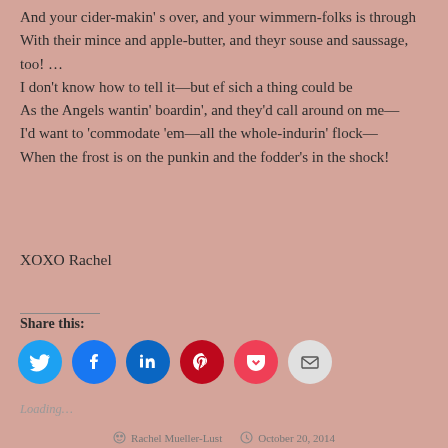And your cider-makin's over, and your wimmern-folks is through
With their mince and apple-butter, and theyr souse and saussage, too! ...
I don't know how to tell it—but ef sich a thing could be
As the Angels wantin' boardin', and they'd call around on me—
I'd want to 'commodate 'em—all the whole-indurin' flock—
When the frost is on the punkin and the fodder's in the shock!
XOXO Rachel
Share this:
Loading...
Rachel Mueller-Lust   October 20, 2014